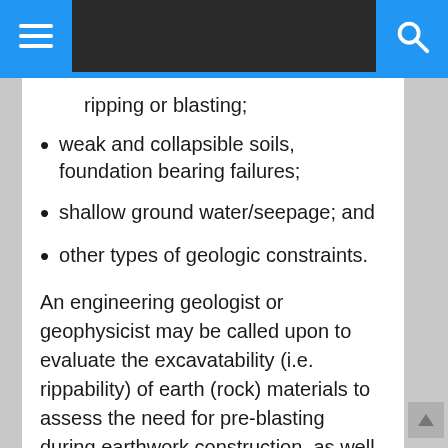navigation bar with menu and search icons
ripping or blasting;
weak and collapsible soils, foundation bearing failures;
shallow ground water/seepage; and
other types of geologic constraints.
An engineering geologist or geophysicist may be called upon to evaluate the excavatability (i.e. rippability) of earth (rock) materials to assess the need for pre-blasting during earthwork construction, as well as associated impacts due to